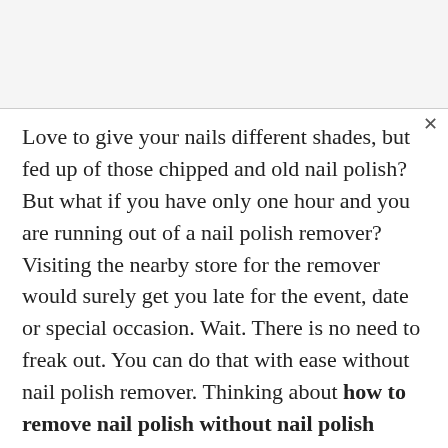Love to give your nails different shades, but fed up of those chipped and old nail polish? But what if you have only one hour and you are running out of a nail polish remover? Visiting the nearby store for the remover would surely get you late for the event, date or special occasion. Wait. There is no need to freak out. You can do that with ease without nail polish remover. Thinking about how to remove nail polish without nail polish remover? Some of the household items would surely help you out in removing the nail polish. From the fruits in your kitchen to the